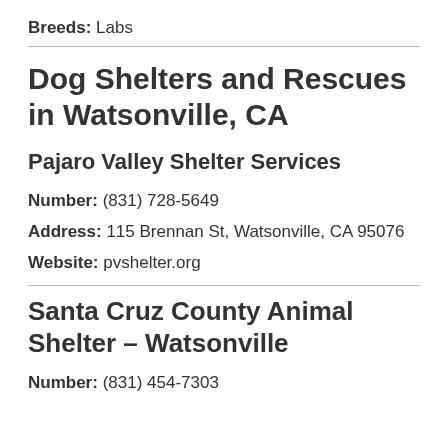Breeds: Labs
Dog Shelters and Rescues in Watsonville, CA
Pajaro Valley Shelter Services
Number: (831) 728-5649
Address: 115 Brennan St, Watsonville, CA 95076
Website: pvshelter.org
Santa Cruz County Animal Shelter – Watsonville
Number: (831) 454-7303